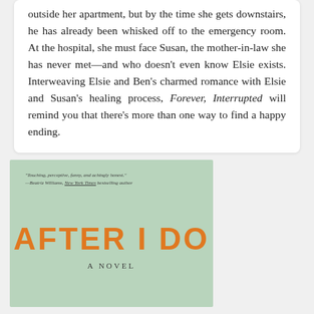outside her apartment, but by the time she gets downstairs, he has already been whisked off to the emergency room. At the hospital, she must face Susan, the mother-in-law she has never met—and who doesn't even know Elsie exists. Interweaving Elsie and Ben's charmed romance with Elsie and Susan's healing process, Forever, Interrupted will remind you that there's more than one way to find a happy ending.
[Figure (illustration): Book cover of 'After I Do' showing a light green/mint background with an orange bold title 'AFTER I DO', subtitle 'A NOVEL', and a blurb quote: 'Touching, perceptive, funny, and achingly honest.' —Beatriz Williams, New York Times bestselling author]